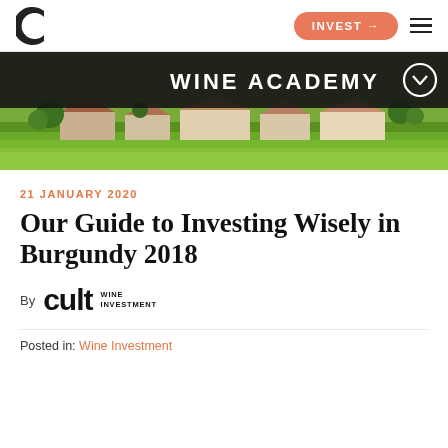INVEST →  ≡
[Figure (photo): Dark header banner with 'WINE ACADEMY' text overlaying a countryside vineyard photo with farmhouses and green fields]
21 JANUARY 2020
Our Guide to Investing Wisely in Burgundy 2018
By cult WINE INVESTMENT
Posted in: Wine Investment